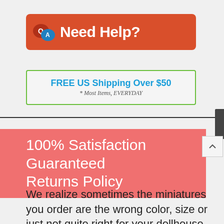[Figure (logo): Red rounded rectangle banner with QA speech bubble icons and white text 'Need Help?']
[Figure (infographic): Green-bordered box with blue bold text 'FREE US Shipping Over $50' and italic subtitle '* Most Items, EVERYDAY']
100% Satisfaction Guaranteed Returns Policy
We realize sometimes the miniatures you order are the wrong color, size or just not quite right for your dollhouse. So you can return any resalable item to us for for any reason and receive a